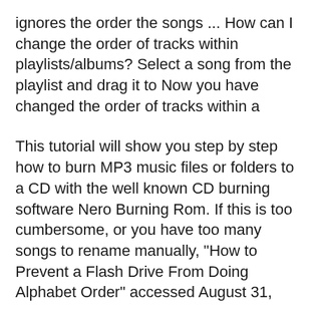ignores the order the songs ... How can I change the order of tracks within playlists/albums? Select a song from the playlist and drag it to Now you have changed the order of tracks within a
This tutorial will show you step by step how to burn MP3 music files or folders to a CD with the well known CD burning software Nero Burning Rom. If this is too cumbersome, or you have too many songs to rename manually, "How to Prevent a Flash Drive From Doing Alphabet Order" accessed August 31,
How to Play Music Playlists in PowerPoint as The mp3 file or song is started by clicking the speaker icon